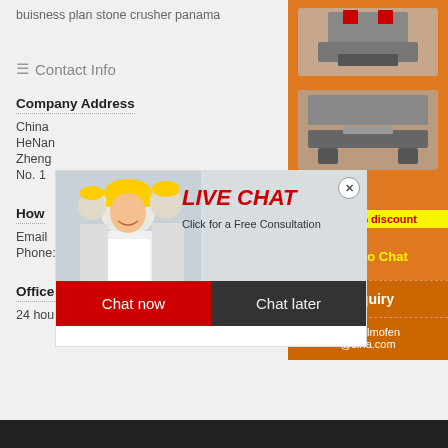buisness plan stone crusher panama
Contact Info
Company Address
China
HeNan
Zheng
No. 1
How
Email
Phone: +86 (0371)xxx+6102
Office Hours
24 hours at your service
[Figure (screenshot): Live chat popup overlay with worker image, LIVE CHAT heading in red italic, 'Click for a Free Consultation' text, red 'Chat now' button and dark 'Chat later' button]
[Figure (screenshot): Orange sidebar advertisement for mining machinery with machine images, yellow discount banner 'Enjoy 3% discount', yellow 'Click to Chat' text, Enquiry section, and email limingjlmofen@sina.com]